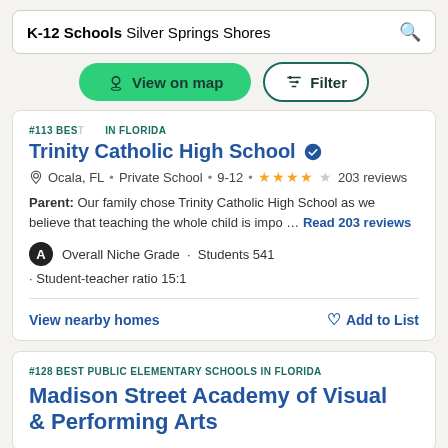K-12 Schools Silver Springs Shores
[Figure (screenshot): View on map button (green pill) and Filter button (outlined pill) row]
#113 BEST ... IN FLORIDA
Trinity Catholic High School
Ocala, FL • Private School • 9-12 • ★★★★☆ 203 reviews
Parent: Our family chose Trinity Catholic High School as we believe that teaching the whole child is impo ... Read 203 reviews
A  Overall Niche Grade · Students 541
· Student-teacher ratio 15:1
View nearby homes    Add to List
#128 BEST PUBLIC ELEMENTARY SCHOOLS IN FLORIDA
Madison Street Academy of Visual & Performing Arts